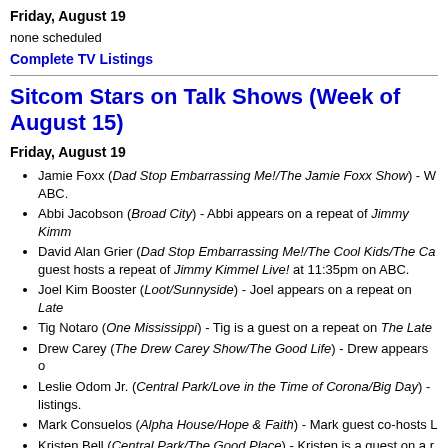Friday, August 19
none scheduled
Complete TV Listings
Sitcom Stars on Talk Shows (Week of August 15)
Friday, August 19
Jamie Foxx (Dad Stop Embarrassing Me!/The Jamie Foxx Show) - W... ABC.
Abbi Jacobson (Broad City) - Abbi appears on a repeat of Jimmy Kimm...
David Alan Grier (Dad Stop Embarrassing Me!/The Cool Kids/The Ca... guest hosts a repeat of Jimmy Kimmel Live! at 11:35pm on ABC.
Joel Kim Booster (Loot/Sunnyside) - Joel appears on a repeat on Late...
Tig Notaro (One Mississippi) - Tig is a guest on a repeat on The Late...
Drew Carey (The Drew Carey Show/The Good Life) - Drew appears o...
Leslie Odom Jr. (Central Park/Love in the Time of Corona/Big Day) - ... listings.
Mark Consuelos (Alpha House/Hope & Faith) - Mark guest co-hosts L...
Kristen Bell (Central Park/The Good Place) - Kristen is a guest on a r... listings.
Alyssa Milano (Who's the Boss?/Romantically Challenged) - Alyssa ta... Show, so check your local listings.
Rose McIver (Ghosts/Woke) - Rose appears on a repeat of The Kelly...
Michelle Buteau (Bless the Harts/Enlisted) - Michelle will be on a repe...
Sherri Shepherd (Mr. Iglesias/Trial & Error/Sherri/Less Than Perfect/S...